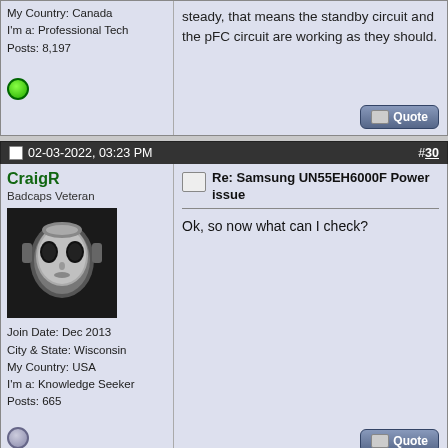My Country: Canada
I'm a: Professional Tech
Posts: 8,197
steady, that means the standby circuit and the pFC circuit are working as they should.
02-03-2022, 03:23 PM  #30
CraigR
Badcaps Veteran
[Figure (photo): Black and white avatar image of a stylized alien/robotic face with large dark eyes]
Join Date: Dec 2013
City & State: Wisconsin
My Country: USA
I'm a: Knowledge Seeker
Posts: 665
Re: Samsung UN55EH6000F Power issue
Ok, so now what can I check?
02-03-2022, 03:37 PM  #31
R  J
Badcaps Veteran
Re: Samsung UN55EH6000F Power issue